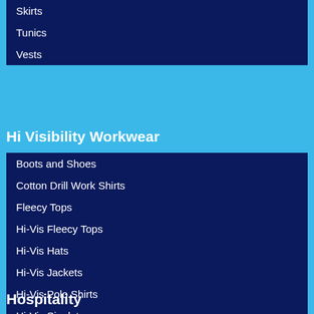Skirts
Tunics
Vests
Hi Visibility Workwear
Boots and Shoes
Cotton Drill Work Shirts
Fleecy Tops
Hi-Vis Fleecy Tops
Hi-Vis Hats
Hi-Vis Jackets
Hi-Vis Polo Shirts
Hi-Vis Singlets
Hi-Vis T-Shirts
Hi-Vis Vests
Hi Vis Pants
Overalls
Work Pants
Hospitality